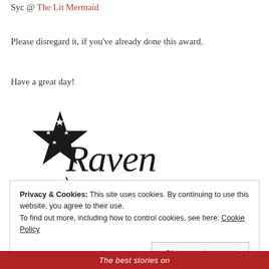Syc @ The Lit Mermaid
Please disregard it, if you've already done this award.
Have a great day!
[Figure (illustration): A handwritten signature reading 'Raven' with a decorative star icon featuring a pattern of white stars on a black star shape]
Privacy & Cookies: This site uses cookies. By continuing to use this website, you agree to their use. To find out more, including how to control cookies, see here: Cookie Policy
Close and accept
The best stories on